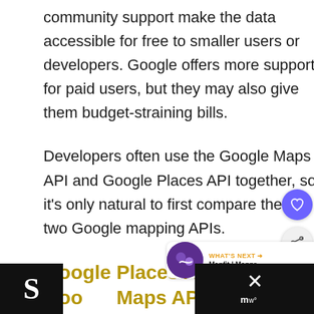community support make the data accessible for free to smaller users or developers. Google offers more support for paid users, but they may also give them budget-straining bills.
Developers often use the Google Maps API and Google Places API together, so it's only natural to first compare these two Google mapping APIs.
Google Places API Vs Google Maps API